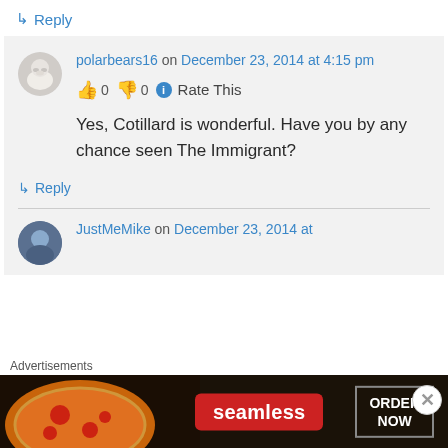↳ Reply
polarbears16 on December 23, 2014 at 4:15 pm
👍 0 👎 0 ℹ Rate This
Yes, Cotillard is wonderful. Have you by any chance seen The Immigrant?
↳ Reply
JustMeMike on December 23, 2014 at
Advertisements
[Figure (screenshot): Seamless food delivery advertisement banner with pizza image on the left, Seamless logo in red, and ORDER NOW button on the right]